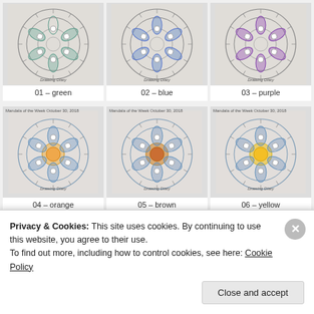[Figure (illustration): Mandala drawing colored green - labeled 01 green]
01 – green
[Figure (illustration): Mandala drawing colored blue - labeled 02 blue]
02 – blue
[Figure (illustration): Mandala drawing colored purple - labeled 03 purple]
03 – purple
[Figure (illustration): Mandala of the Week October 30 2018 colored orange - labeled 04 orange]
04 – orange
[Figure (illustration): Mandala of the Week October 30 2018 colored brown - labeled 05 brown]
05 – brown
[Figure (illustration): Mandala of the Week October 30 2018 colored yellow - labeled 06 yellow]
06 – yellow
Privacy & Cookies: This site uses cookies. By continuing to use this website, you agree to their use.
To find out more, including how to control cookies, see here: Cookie Policy
Close and accept